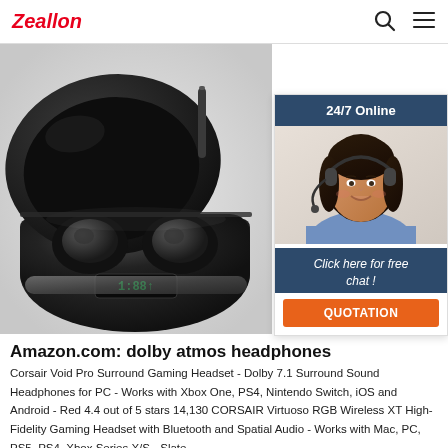Zeallon
[Figure (photo): Black TWS wireless earbuds in an open charging case with LED display showing battery level]
[Figure (photo): Customer service representative woman with headset smiling, with '24/7 Online' banner and 'Click here for free chat! QUOTATION' button]
Amazon.com: dolby atmos headphones
Corsair Void Pro Surround Gaming Headset - Dolby 7.1 Surround Sound Headphones for PC - Works with Xbox One, PS4, Nintendo Switch, iOS and Android - Red 4.4 out of 5 stars 14,130 CORSAIR Virtuoso RGB Wireless XT High-Fidelity Gaming Headset with Bluetooth and Spatial Audio - Works with Mac, PC, PS5, PS4, Xbox Series X/S - Slate